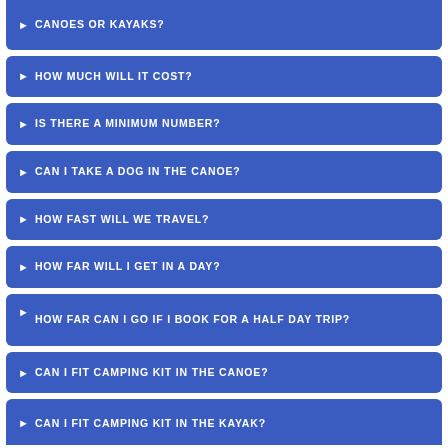CANOES OR KAYAKS?
HOW MUCH WILL IT COST?
IS THERE A MINIMUM NUMBER?
CAN I TAKE A DOG IN THE CANOE?
HOW FAST WILL WE TRAVEL?
HOW FAR WILL I GET IN A DAY?
HOW FAR CAN I GO IF I BOOK FOR A HALF DAY TRIP?
CAN I FIT CAMPING KIT IN THE CANOE?
CAN I FIT CAMPING KIT IN THE KAYAK?